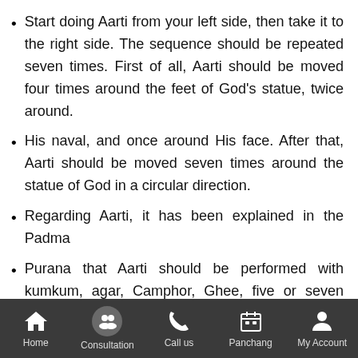Start doing Aarti from your left side, then take it to the right side. The sequence should be repeated seven times. First of all, Aarti should be moved four times around the feet of God's statue, twice around.
His naval, and once around His face. After that, Aarti should be moved seven times around the statue of God in a circular direction.
Regarding Aarti, it has been explained in the Padma
Purana that Aarti should be performed with kumkum, agar, Camphor, Ghee, five or seven sandalwood wicks, and cotton wicks with Ghee amidst blowing of shankh and ringing of bells.
Home   Consultation   Call us   Panchang   My Account